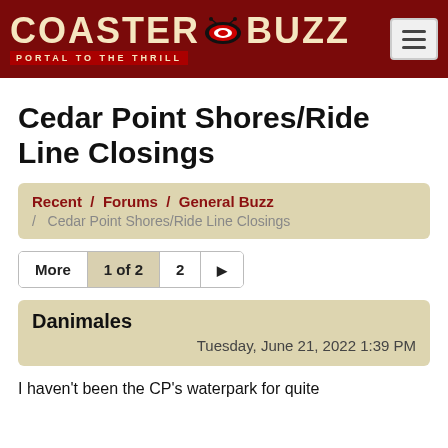CoasterBuzz - Portal to the Thrill
Cedar Point Shores/Ride Line Closings
Recent / Forums / General Buzz / Cedar Point Shores/Ride Line Closings
More  1 of 2  2  ▶
Danimales
Tuesday, June 21, 2022 1:39 PM
I haven't been the CP's waterpark for quite